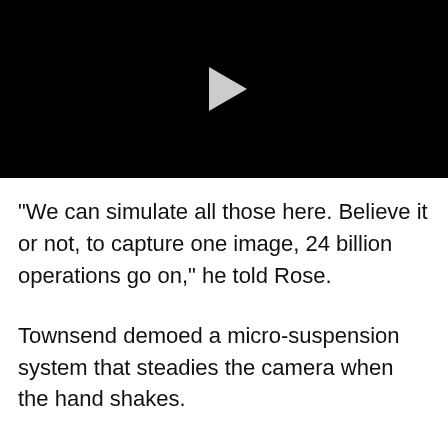[Figure (other): Black video player with a grey play button triangle in the center]
“We can simulate all those here. Believe it or not, to capture one image, 24 billion operations go on,” he told Rose.
Townsend demoed a micro-suspension system that steadies the camera when the hand shakes.
“This whole sus – autofocus motor here is